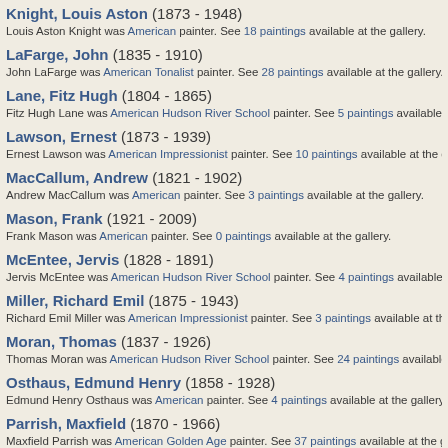Knight, Louis Aston (1873 - 1948)
Louis Aston Knight was American painter. See 18 paintings available at the gallery.
LaFarge, John (1835 - 1910)
John LaFarge was American Tonalist painter. See 28 paintings available at the gallery.
Lane, Fitz Hugh (1804 - 1865)
Fitz Hugh Lane was American Hudson River School painter. See 5 paintings available at the g
Lawson, Ernest (1873 - 1939)
Ernest Lawson was American Impressionist painter. See 10 paintings available at the gallery.
MacCallum, Andrew (1821 - 1902)
Andrew MacCallum was American painter. See 3 paintings available at the gallery.
Mason, Frank (1921 - 2009)
Frank Mason was American painter. See 0 paintings available at the gallery.
McEntee, Jervis (1828 - 1891)
Jervis McEntee was American Hudson River School painter. See 4 paintings available at the g
Miller, Richard Emil (1875 - 1943)
Richard Emil Miller was American Impressionist painter. See 3 paintings available at the galler
Moran, Thomas (1837 - 1926)
Thomas Moran was American Hudson River School painter. See 24 paintings available at the
Osthaus, Edmund Henry (1858 - 1928)
Edmund Henry Osthaus was American painter. See 4 paintings available at the gallery.
Parrish, Maxfield (1870 - 1966)
Maxfield Parrish was American Golden Age painter. See 37 paintings available at the gallery.
Paxton, William McGregor (1869 - 1941)